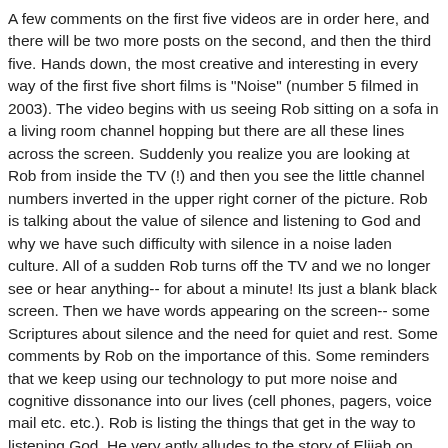A few comments on the first five videos are in order here, and there will be two more posts on the second, and then the third five. Hands down, the most creative and interesting in every way of the first five short films is "Noise" (number 5 filmed in 2003). The video begins with us seeing Rob sitting on a sofa in a living room channel hopping but there are all these lines across the screen. Suddenly you realize you are looking at Rob from inside the TV (!) and then you see the little channel numbers inverted in the upper right corner of the picture. Rob is talking about the value of silence and listening to God and why we have such difficulty with silence in a noise laden culture. All of a sudden Rob turns off the TV and we no longer see or hear anything-- for about a minute! Its just a blank black screen. Then we have words appearing on the screen-- some Scriptures about silence and the need for quiet and rest. Some comments by Rob on the importance of this. Some reminders that we keep using our technology to put more noise and cognitive dissonance into our lives (cell phones, pagers, voice mail etc. etc.). Rob is listing the things that get in the way to listening God. He very aptly alludes to the story of Elijah on Horeb in 1 Kngs. 19-- and how the message of God was not in the conflagration or